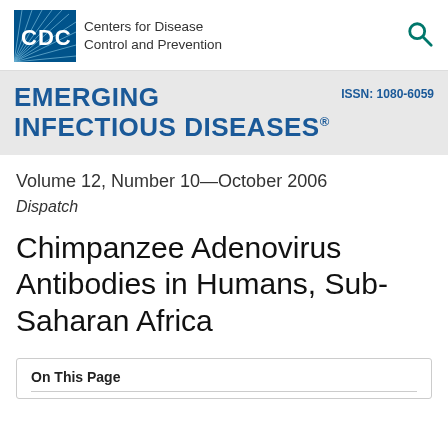[Figure (logo): CDC Centers for Disease Control and Prevention logo with blue box containing CDC letters and radiating lines, alongside text 'Centers for Disease Control and Prevention']
EMERGING INFECTIOUS DISEASES
ISSN: 1080-6059
Volume 12, Number 10—October 2006
Dispatch
Chimpanzee Adenovirus Antibodies in Humans, Sub-Saharan Africa
On This Page